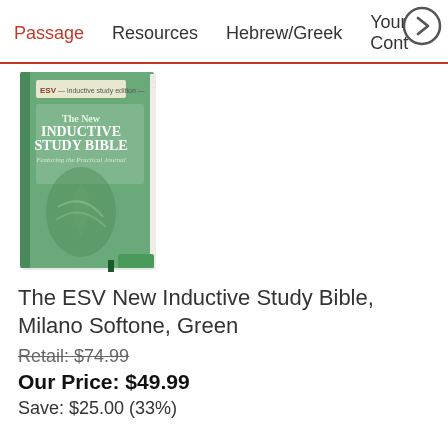Passage   Resources   Hebrew/Greek   Your Cont…
[Figure (photo): Book cover: The ESV New Inductive Study Bible, Milano Softone, Green — green leather-look cover with decorative design]
The ESV New Inductive Study Bible, Milano Softone, Green
Retail: $74.99
Our Price: $49.99
Save: $25.00 (33%)
[Figure (other): Buy Now button — dark red/brown rounded rectangle button with white text]
[Figure (photo): Partial view of a teal/cyan colored Holy Bible book cover at the bottom of the page]